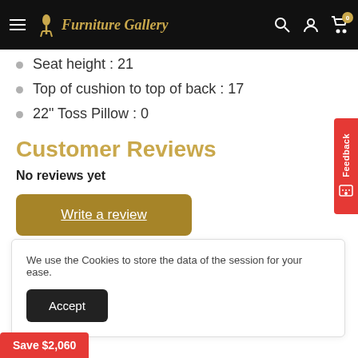Furniture Gallery — navigation bar
Seat height : 21
Top of cushion to top of back : 17
22" Toss Pillow : 0
Customer Reviews
No reviews yet
Write a review
We use the Cookies to store the data of the session for your ease.
Accept
Save $2,060